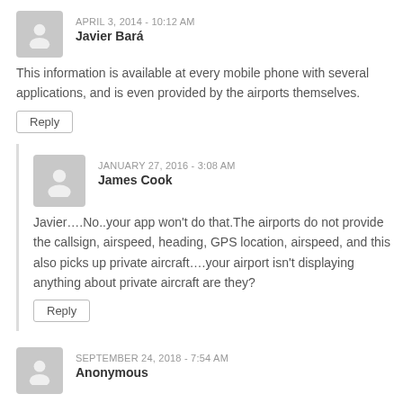APRIL 3, 2014 - 10:12 AM
Javier Bará
This information is available at every mobile phone with several applications, and is even provided by the airports themselves.
Reply
JANUARY 27, 2016 - 3:08 AM
James Cook
Javier….No..your app won't do that.The airports do not provide the callsign, airspeed, heading, GPS location, airspeed, and this also picks up private aircraft….your airport isn't displaying anything about private aircraft are they?
Reply
SEPTEMBER 24, 2018 - 7:54 AM
Anonymous
Absolument! Tu est un vieux con.